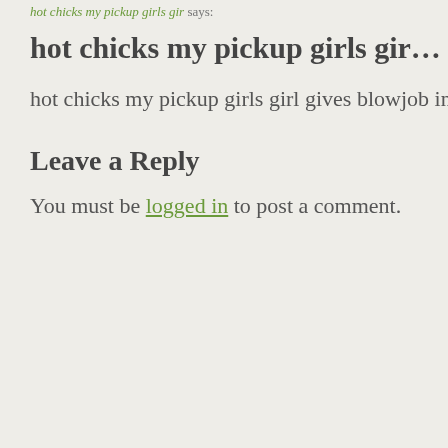hot chicks my pickup girls gir says:
hot chicks my pickup girls gir…
hot chicks my pickup girls girl gives blowjob in public
Leave a Reply
You must be logged in to post a comment.